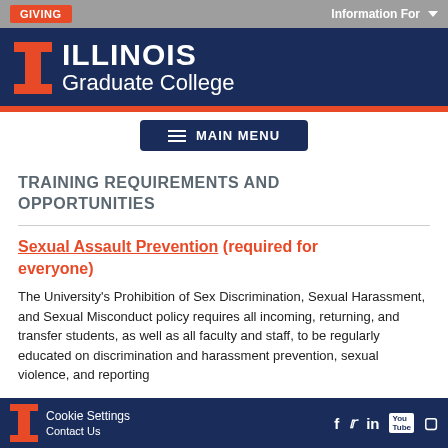GIVING | Information For
ILLINOIS Graduate College
MAIN MENU
TRAINING REQUIREMENTS AND OPPORTUNITIES
Sexual Assault Prevention (required for everyone)
The University's Prohibition of Sex Discrimination, Sexual Harassment, and Sexual Misconduct policy requires all incoming, returning, and transfer students, as well as all faculty and staff, to be regularly educated on discrimination and harassment prevention, sexual violence, and reporting
Contact Us | Cookie Settings | social icons: f, Twitter, in, YouTube, Instagram